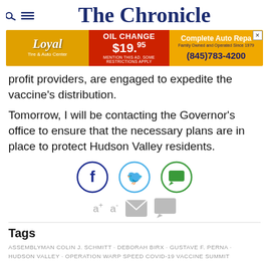The Chronicle
[Figure (infographic): Advertisement banner for Loyal Tire & Auto Center: OIL CHANGE $19.95, mention this ad some restrictions apply. Complete Auto Repair. Family Owned and Operated Since 1979. (845)783-4200]
profit providers, are engaged to expedite the vaccine's distribution.
Tomorrow, I will be contacting the Governor's office to ensure that the necessary plans are in place to protect Hudson Valley residents.
[Figure (infographic): Social media sharing icons: Facebook (blue circle), Twitter (light blue circle), and a green chat/comment icon. Below: text resize buttons a+ a-, email icon, and comment icon.]
Tags
ASSEMBLYMAN COLIN J. SCHMITT · DEBORAH BIRX · GUSTAVE F. PERNA · HUDSON VALLEY · OPERATION WARP SPEED COVID-19 VACCINE SUMMIT